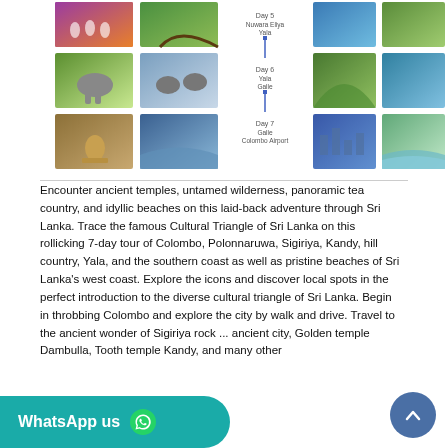[Figure (infographic): A collage of Sri Lanka travel photos arranged in a grid with a vertical itinerary map in the center showing Day 5 Nuwara Eliya Yala, Day 6 Yala Galle, Day 7 Galle Colombo Airport route]
Encounter ancient temples, untamed wilderness, panoramic tea country, and idyllic beaches on this laid-back adventure through Sri Lanka. Trace the famous Cultural Triangle of Sri Lanka on this rollicking 7-day tour of Colombo, Polonnaruwa, Sigiriya, Kandy, hill country, Yala, and the southern coast as well as pristine beaches of Sri Lanka's west coast. Explore the icons and discover local spots in the perfect introduction to the diverse cultural triangle of Sri Lanka. Begin in throbbing Colombo and explore the city by walk and drive. Travel to the ancient wonder of Sigiriya rock ... ancient city, Golden temple Dambulla, Tooth temple Kandy, and many other